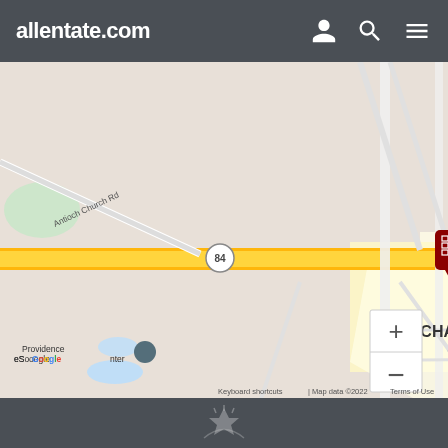allentate.com
[Figure (map): Google Map showing Wesley Chapel Village Commons location at the intersection of Weddington Rd (Route 84). Nearby landmarks include Steps N Motion Dance Studio, Providence Center. Streets visible: Antioch Church Rd, Golden Rain Dr, Silverleaf Ln, Castleston, Blackwood Ln, Crosshall Pl, Billy Howey Rd, Springwood Dr. A dark red building/pin marker indicates the property location. Map data ©2022.]